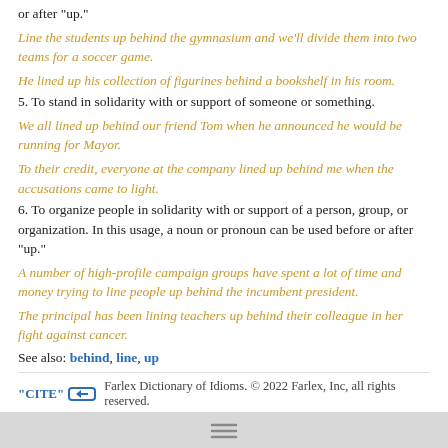or after "up."
Line the students up behind the gymnasium and we'll divide them into two teams for a soccer game.
He lined up his collection of figurines behind a bookshelf in his room.
5. To stand in solidarity with or support of someone or something.
We all lined up behind our friend Tom when he announced he would be running for Mayor.
To their credit, everyone at the company lined up behind me when the accusations came to light.
6. To organize people in solidarity with or support of a person, group, or organization. In this usage, a noun or pronoun can be used before or after "up."
A number of high-profile campaign groups have spent a lot of time and money trying to line people up behind the incumbent president.
The principal has been lining teachers up behind their colleague in her fight against cancer.
See also: behind, line, up
"CITE" [link icon] Farlex Dictionary of Idioms. © 2022 Farlex, Inc, all rights reserved.